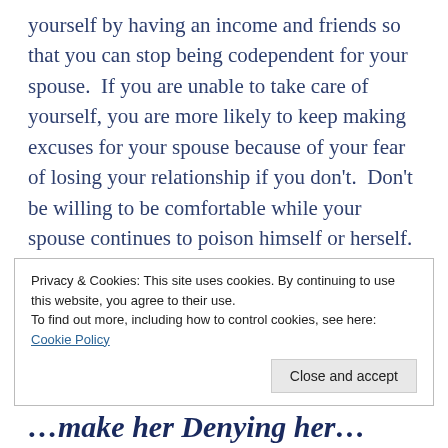yourself by having an income and friends so that you can stop being codependent for your spouse. If you are unable to take care of yourself, you are more likely to keep making excuses for your spouse because of your fear of losing your relationship if you don't. Don't be willing to be comfortable while your spouse continues to poison himself or herself. You need to make sure that your spouse does not have the security of knowing that you would never leave whatever he or she does. Prepare to leave, but never threaten to leave. Threats damage a relationship. If you need help knowing how to use the intervention of
Privacy & Cookies: This site uses cookies. By continuing to use this website, you agree to their use. To find out more, including how to control cookies, see here: Cookie Policy
Close and accept
…make her Denying her…